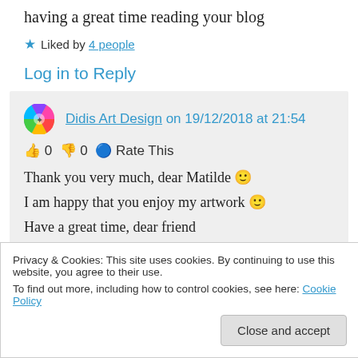having a great time reading your blog
★ Liked by 4 people
Log in to Reply
Didis Art Design on 19/12/2018 at 21:54
👍 0 👎 0 ℹ Rate This
Thank you very much, dear Matilde 🙂
I am happy that you enjoy my artwork 🙂
Have a great time, dear friend
Privacy & Cookies: This site uses cookies. By continuing to use this website, you agree to their use.
To find out more, including how to control cookies, see here: Cookie Policy